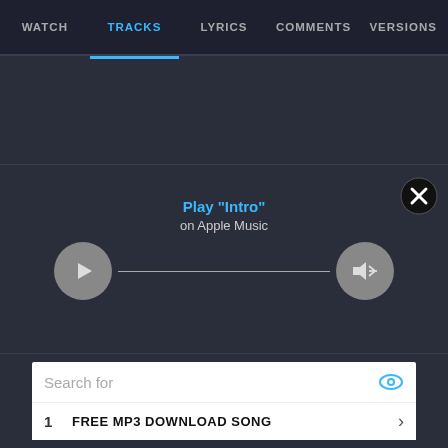WATCH  TRACKS  LYRICS  COMMENTS  VERSIONS
[Figure (screenshot): Music player UI with play button, volume button, and a horizontal track line. Center text reads Play "Intro" on Apple Music.]
Play "Intro"
on Apple Music
Search for
1  FREE MP3 DOWNLOAD SONG  >